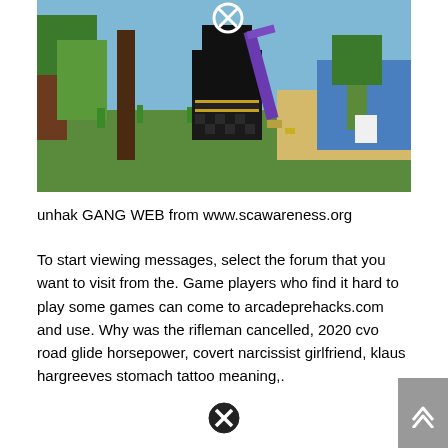[Figure (screenshot): Minecraft game screenshot showing a black-suited player character with an X circle icon on their head, holding a purple sword, standing in a grassy landscape with trees and a sandy beach/ocean in the background.]
unhak GANG WEB from www.scawareness.org
To start viewing messages, select the forum that you want to visit from the. Game players who find it hard to play some games can come to arcadeprehacks.com and use. Why was the rifleman cancelled, 2020 cvo road glide horsepower, covert narcissist girlfriend, klaus hargreeves stomach tattoo meaning,.